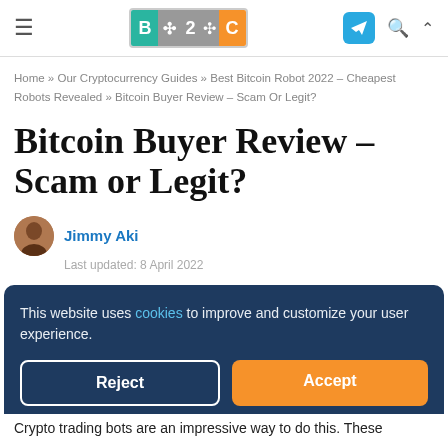≡  B2C  [telegram] [search] [up]
Home » Our Cryptocurrency Guides » Best Bitcoin Robot 2022 – Cheapest Robots Revealed » Bitcoin Buyer Review – Scam Or Legit?
Bitcoin Buyer Review – Scam or Legit?
Jimmy Aki
Last updated: 8 April 2022
This website uses cookies to improve and customize your user experience.
Reject  Accept
Crypto trading bots are an impressive way to do this. These